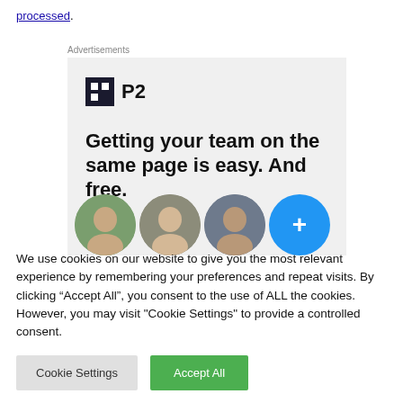processed.
[Figure (illustration): Advertisement banner for P2 product. Shows P2 logo (dark square with grid icon and 'P2' text), bold headline 'Getting your team on the same page is easy. And free.', and partial avatar photos at the bottom including a blue circle with plus sign.]
We use cookies on our website to give you the most relevant experience by remembering your preferences and repeat visits. By clicking “Accept All”, you consent to the use of ALL the cookies. However, you may visit "Cookie Settings" to provide a controlled consent.